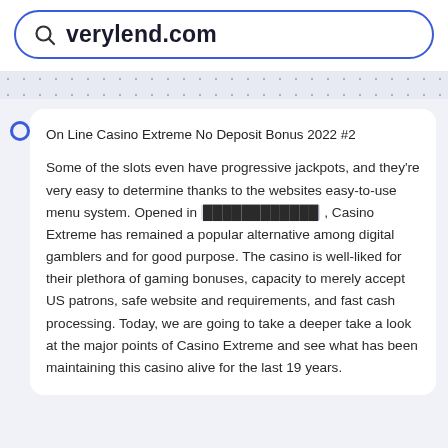verylend.com
On Line Casino Extreme No Deposit Bonus 2022 #2
Some of the slots even have progressive jackpots, and they're very easy to determine thanks to the websites easy-to-use menu system. Opened in ████████████ , Casino Extreme has remained a popular alternative among digital gamblers and for good purpose. The casino is well-liked for their plethora of gaming bonuses, capacity to merely accept US patrons, safe website and requirements, and fast cash processing. Today, we are going to take a deeper take a look at the major points of Casino Extreme and see what has been maintaining this casino alive for the last 19 years.